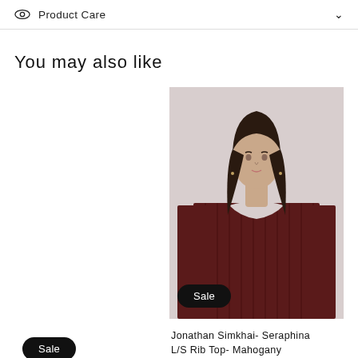Product Care
You may also like
[Figure (photo): A female model wearing a dark mahogany ribbed long-sleeve top with a cutout neckline detail, shown from the waist up against a light grey background. A 'Sale' badge appears at the bottom left of the image.]
Jonathan Simkhai- Seraphina L/S Rib Top- Mahogany
$325.00 USD  $228.00 USD